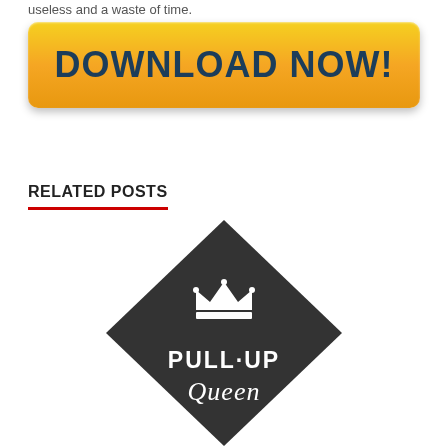useless and a waste of time.
[Figure (other): Yellow download button with bold dark blue text reading DOWNLOAD NOW!]
RELATED POSTS
[Figure (logo): Diamond-shaped dark grey/black logo with a crown icon and text PULL UP Queen in white]